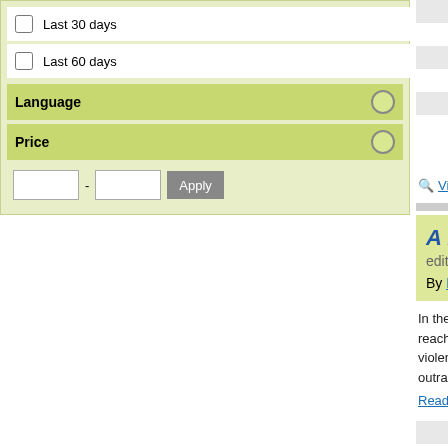Last 30 days
Last 60 days
Language
Price
| Field | Value |
| --- | --- |
| ISBN | 97815... |
| Published NZ | 28 Aug... |
| Publisher | Bolinda... |
| Interest Age | Genera... |
| Series | Inspec... |
| Availability | 3 In sto...
usually...
covid1... |
View details for this t...
A Necessary End... edition)
By Robinson, Peter; Re...
In the usually peaceful to... reached breaking point. A... violence, leaving one pol... outrage, Superintendent...
Read more
| Field | Value |
| --- | --- |
| ISBN | 97815... |
| Published NZ | 28 Sep... |